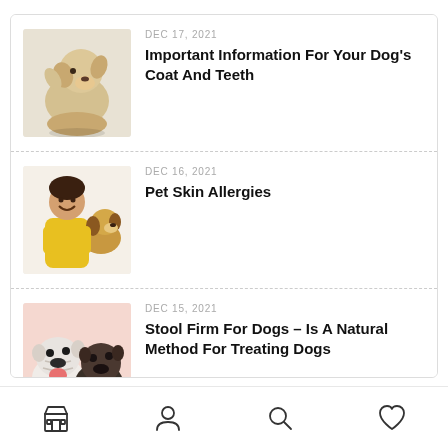Recent Posts
[Figure (photo): Golden retriever dog sitting and raising paw]
DEC 17, 2021
Important Information For Your Dog's Coat And Teeth
[Figure (photo): Smiling woman in yellow sweater holding a beagle dog]
DEC 16, 2021
Pet Skin Allergies
[Figure (photo): Two bulldogs/pugs on pink background]
DEC 15, 2021
Stool Firm For Dogs – Is A Natural Method For Treating Dogs
Navigation bar with store, profile, search, and favorites icons